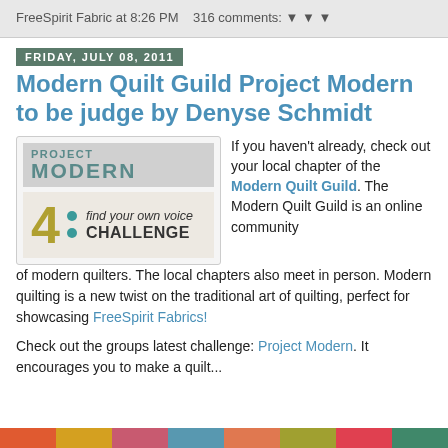FreeSpirit Fabric at 8:26 PM   316 comments:
Friday, July 08, 2011
Modern Quilt Guild Project Modern to be judge by Denyse Schmidt
[Figure (logo): Project Modern 4: find your own voice CHALLENGE logo with teal dots and olive-colored numeral 4]
If you haven't already, check out your local chapter of the Modern Quilt Guild. The Modern Quilt Guild is an online community of modern quilters. The local chapters also meet in person. Modern quilting is a new twist on the traditional art of quilting, perfect for showcasing FreeSpirit Fabrics!
Check out the groups latest challenge: Project Modern. It encourages you to make a quilt...